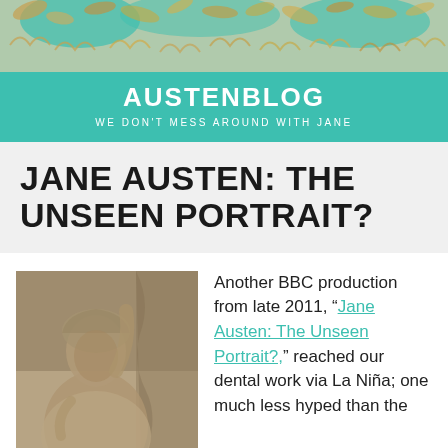[Figure (illustration): Decorative header image with teal background and illustrated motifs including gold/cream colored botanical and shell-like decorative elements]
AUSTENBLOG
WE DON'T MESS AROUND WITH JANE
JANE AUSTEN: THE UNSEEN PORTRAIT?
[Figure (photo): Sepia/grayscale portrait photograph or illustration of a woman in early 19th century dress with a bonnet or head covering, seated near a curtain or drape]
Another BBC production from late 2011, “Jane Austen: The Unseen Portrait?,” reached our dental work via La Niña; one much less hyped than the